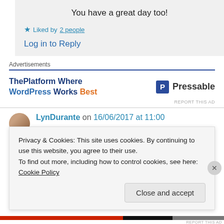You have a great day too!
★ Liked by 2 people
Log in to Reply
Advertisements
[Figure (other): Advertisement banner: ThePlatform Where WordPress Works Best — Pressable logo]
LynDurante on 16/06/2017 at 11:00
Privacy & Cookies: This site uses cookies. By continuing to use this website, you agree to their use.
To find out more, including how to control cookies, see here: Cookie Policy
Close and accept